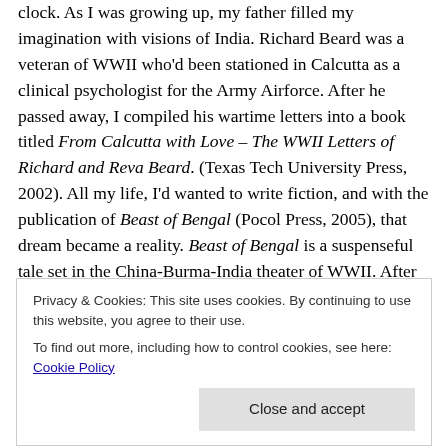clock. As I was growing up, my father filled my imagination with visions of India. Richard Beard was a veteran of WWII who'd been stationed in Calcutta as a clinical psychologist for the Army Airforce. After he passed away, I compiled his wartime letters into a book titled From Calcutta with Love – The WWII Letters of Richard and Reva Beard. (Texas Tech University Press, 2002). All my life, I'd wanted to write fiction, and with the publication of Beast of Bengal (Pocol Press, 2005), that dream became a reality. Beast of Bengal is a suspenseful tale set in the China-Burma-India theater of WWII. After visiting Southern India in 2013, I
Privacy & Cookies: This site uses cookies. By continuing to use this website, you agree to their use.
To find out more, including how to control cookies, see here: Cookie Policy
Close and accept
novel opens generations and tells of friendship and